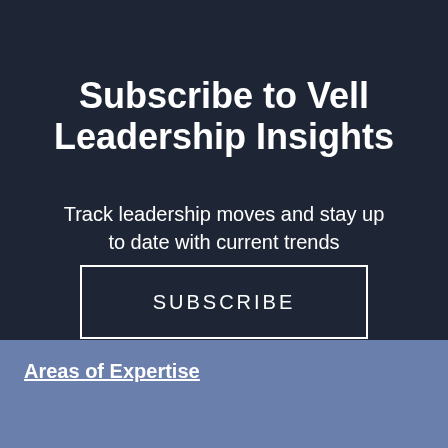Subscribe to Vell Leadership Insights
Track leadership moves and stay up to date with current trends
SUBSCRIBE
Areas of Expertise